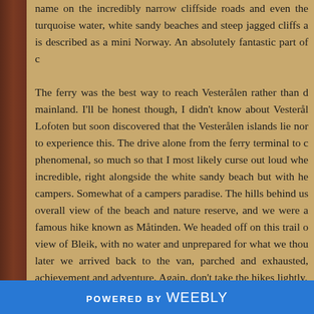name on the incredibly narrow cliffside roads and even the turquoise water, white sandy beaches and steep jagged cliffs a is described as a mini Norway. An absolutely fantastic part of c
The ferry was the best way to reach Vesterålen rather than d mainland. I'll be honest though, I didn't know about Vesterål Lofoten but soon discovered that the Vesterålen islands lie nor to experience this. The drive alone from the ferry terminal to c phenomenal, so much so that I most likely curse out loud whe incredible, right alongside the white sandy beach but with he campers. Somewhat of a campers paradise. The hills behind us overall view of the beach and nature reserve, and we were a famous hike known as Måtinden. We headed off on this trail o view of Bleik, with no water and unprepared for what we thou later we arrived back to the van, parched and exhausted, achievement and adventure. Again, don't take the hikes lightly.
In Svolvaer, Lofoten we took on the Tjeldbergtinden hike, whi coastline, it was beautiful and much more to our skillset. Brin so I have to choose carefully. This was Gimlis first birthday th
POWERED BY weebly